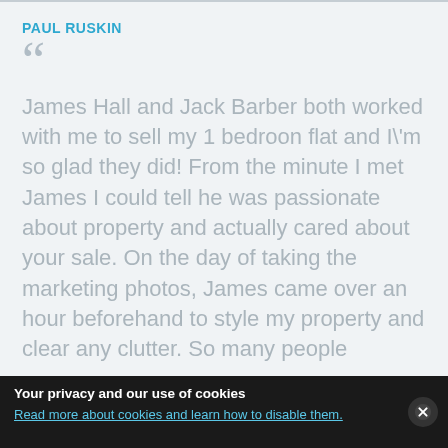PAUL RUSKIN
James Hall and Jack Barber both worked with me to sell my 1 bedroon flat and I\'m so glad they did! From the minute I met James I could tell he was passionate about property and actually cared about your sale. On the day of taking the marketing photos, James came over an hour beforehand to style my property and clear any clutter. So many people
Your privacy and our use of cookies
Read more about cookies and learn how to disable them.